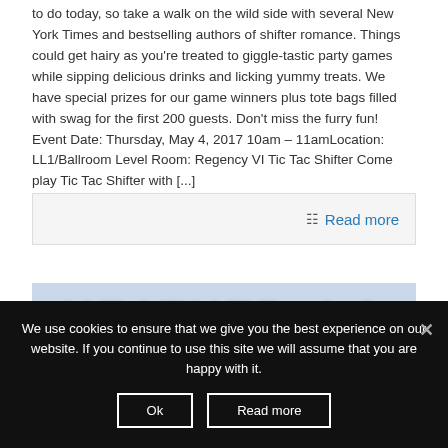to do today, so take a walk on the wild side with several New York Times and bestselling authors of shifter romance. Things could get hairy as you're treated to giggle-tastic party games while sipping delicious drinks and licking yummy treats. We have special prizes for our game winners plus tote bags filled with swag for the first 200 guests. Don't miss the furry fun! Event Date: Thursday, May 4, 2017 10am – 11amLocation: LL1/Ballroom Level Room: Regency VI Tic Tac Shifter Come play Tic Tac Shifter with [...]
Read more
[Figure (photo): Partial preview of a book cover or banner with large bold white text partially visible, on a blue/grey background]
We use cookies to ensure that we give you the best experience on our website. If you continue to use this site we will assume that you are happy with it.
Ok
Read more